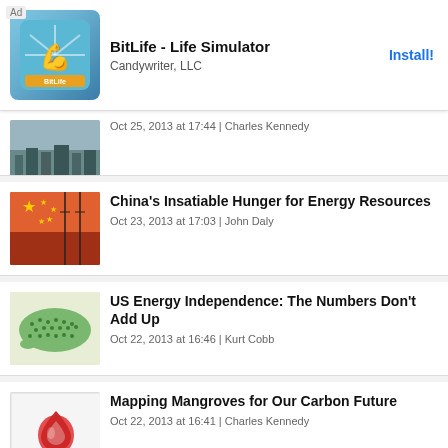[Figure (screenshot): Advertisement banner for BitLife - Life Simulator by Candywriter, LLC with Install button]
[Figure (photo): City skyline with smoggy sky thumbnail]
Oct 25, 2013 at 17:44 | Charles Kennedy
[Figure (photo): Chinese flag with power lines thumbnail]
China's Insatiable Hunger for Energy Resources
Oct 23, 2013 at 17:03 | John Daly
[Figure (illustration): Map of USA made of green icons thumbnail]
US Energy Independence: The Numbers Don't Add Up
Oct 22, 2013 at 16:46 | Kurt Cobb
[Figure (logo): Red droplet logo on white background thumbnail]
Mapping Mangroves for Our Carbon Future
Oct 22, 2013 at 16:41 | Charles Kennedy
[Figure (photo): Aerial view of train/railway thumbnail]
Another Canadian Oil Train Derailment Punctuates Crude Transportation Debate